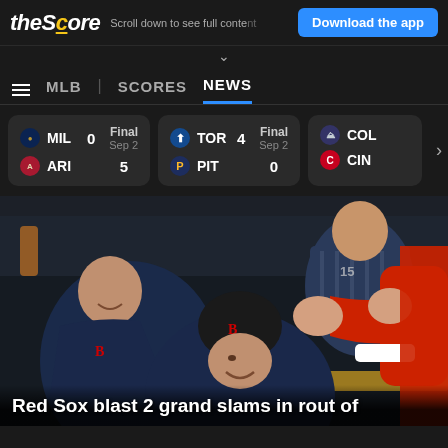theScore — Scroll down to see full content — Download the app
MLB | SCORES NEWS
| Team | Score | Status | Date |
| --- | --- | --- | --- |
| MIL | 0 | Final | Sep 2 |
| ARI | 5 |  |  |
| TOR | 4 | Final | Sep 2 |
| PIT | 0 |  |  |
| COL |  |  |  |
| CIN |  |  |  |
[Figure (photo): Two Boston Red Sox players in dugout celebrating, one wearing batting helmet with B logo, both smiling and receiving high-fives from teammates]
Red Sox blast 2 grand slams in rout of